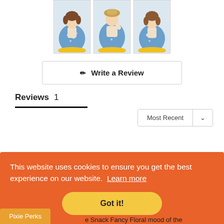[Figure (photo): Three thumbnail images of a doll wearing a blue floral dress with yellow ruffle trim, shown from different angles.]
Write a Review
Reviews 1
Most Recent
This website uses cookies to ensure you get the best experience on our website. Learn more
Got it!
Pixie Perks
e Snack Fancy Floral mood of the